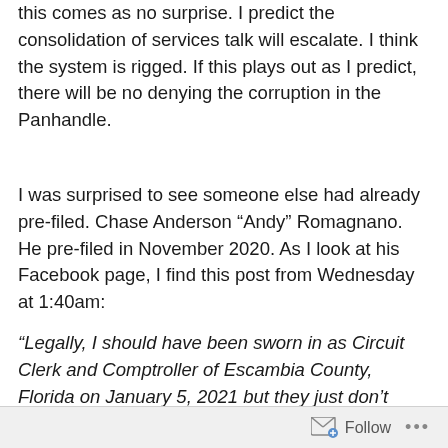this comes as no surprise. I predict the consolidation of services talk will escalate. I think the system is rigged. If this plays out as I predict, there will be no denying the corruption in the Panhandle.
I was surprised to see someone else had already pre-filed. Chase Anderson “Andy” Romagnano. He pre-filed in November 2020. As I look at his Facebook page, I find this post from Wednesday at 1:40am:
“Legally, I should have been sworn in as Circuit Clerk and Comptroller of Escambia County, Florida on January 5, 2021 but they just don’t want me to have it even though legally I should have been sworn in 3 months ago and already earned near $40,000 worth of salary already just even those
Follow